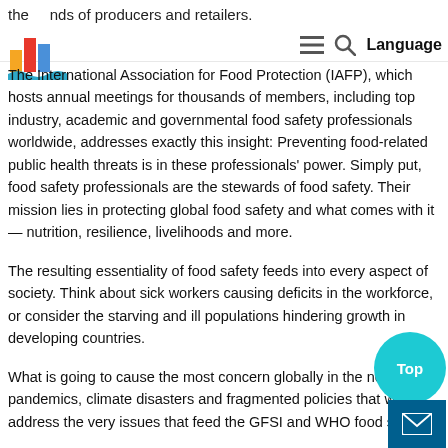the hands of producers and retailers.
[Figure (logo): Colorful bar chart logo icon with blue wave at bottom]
[Figure (other): Navigation icons: hamburger menu, search magnifier, and Language text]
The International Association for Food Protection (IAFP), which hosts annual meetings for thousands of members, including top industry, academic and governmental food safety professionals worldwide, addresses exactly this insight: Preventing food-related public health threats is in these professionals’ power. Simply put, food safety professionals are the stewards of food safety. Their mission lies in protecting global food safety and what comes with it — nutrition, resilience, livelihoods and more.
The resulting essentiality of food safety feeds into every aspect of society. Think about sick workers causing deficits in the workforce, or consider the starving and ill populations hindering growth in developing countries.
What is going to cause the most concern globally in the near are pandemics, climate disasters and fragmented policies that will address the very issues that feed the GFSI and WHO food safe
[Figure (other): Teal circular 'Top' button overlay]
[Figure (other): Dark blue square mail/envelope icon button]